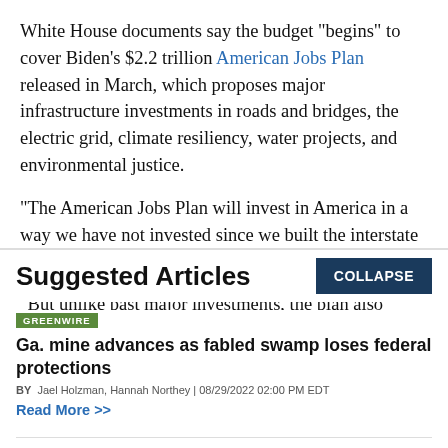White House documents say the budget "begins" to cover Biden's $2.2 trillion American Jobs Plan released in March, which proposes major infrastructure investments in roads and bridges, the electric grid, climate resiliency, water projects, and environmental justice.
"The American Jobs Plan will invest in America in a way we have not invested since we built the interstate highways and won the Space Race," states the budget.
"But unlike past major investments, the plan also
Suggested Articles
GREENWIRE
Ga. mine advances as fabled swamp loses federal protections
BY Jael Holzman, Hannah Northey | 08/29/2022 02:00 PM EDT
Read More >>
GREENWIRE
FERC endorses nation's largest dam removal project